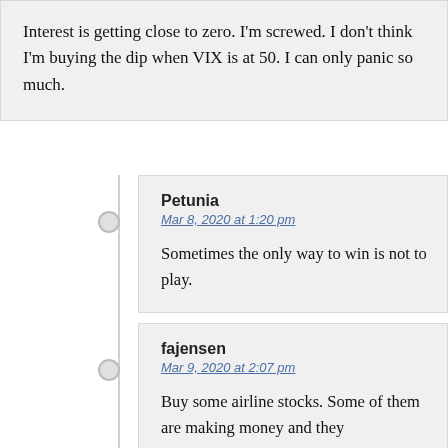Interest is getting close to zero. I'm screwed. I don't think I'm buying the dip when VIX is at 50. I can only panic so much.
Petunia
Mar 8, 2020 at 1:20 pm
Sometimes the only way to win is not to play.
fajensen
Mar 9, 2020 at 2:07 pm
Buy some airline stocks. Some of them are making money and they